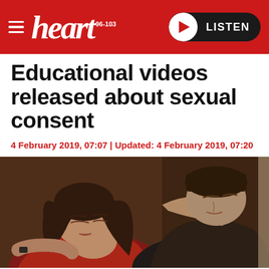heart 96-103 | LISTEN
Educational videos released about sexual consent
4 February 2019, 07:07 | Updated: 4 February 2019, 07:20
[Figure (photo): A young woman in a red top lying back with eyes closed, and a person behind her, depicting a scene related to sexual consent education.]